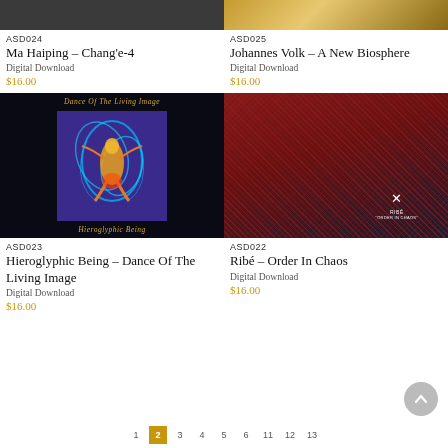[Figure (photo): Partial top of album art for Ma Haiping Chang'e-4, dark gray]
ASD024
Ma Haiping – Chang’e-4
Digital Download
$16.00
[Figure (photo): Partial top of album art for Johannes Volk A New Biosphere, golden/brown tones]
ASD025
Johannes Volk – A New Biosphere
Digital Download
$16.00
[Figure (photo): Album cover for Hieroglyphic Being Dance Of The Living Image: black background with glowing blue and orange abstract figure, purple inner square, gold script text top and bottom]
ASD023
Hieroglyphic Being – Dance Of The Living Image
Digital Download
$16.00
[Figure (photo): Album cover for Ribé Order In Chaos: close-up of dark red woven fabric texture with cross logo and text]
ASD022
Ribé – Order In Chaos
Digital Download
$16.00